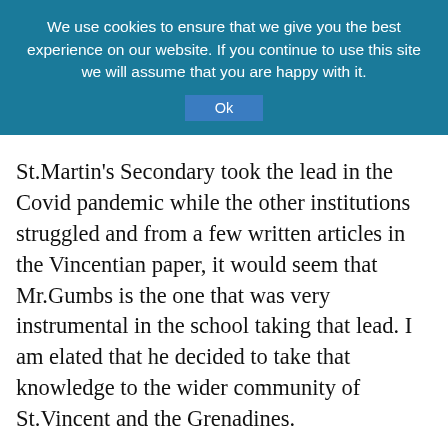We use cookies to ensure that we give you the best experience on our website. If you continue to use this site we will assume that you are happy with it. Ok
St.Martin's Secondary took the lead in the Covid pandemic while the other institutions struggled and from a few written articles in the Vincentian paper, it would seem that Mr.Gumbs is the one that was very instrumental in the school taking that lead. I am elated that he decided to take that knowledge to the wider community of St.Vincent and the Grenadines.
I must also applaud the teachers who make up the STEMSVG team. They are